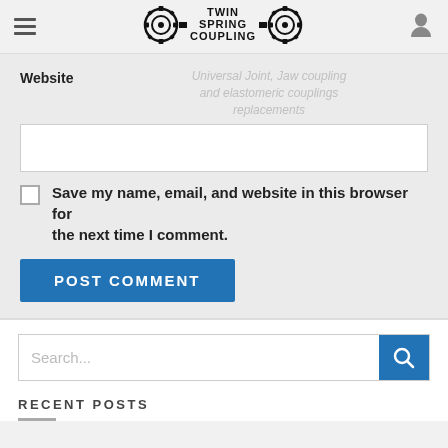[Figure (logo): Twin Spring Coupling logo with gear/coupling icons on either side of text]
Website   Universal Joint, Jaw coupling and elastomeric couplings replacements
Save my name, email, and website in this browser for the next time I comment.
POST COMMENT
Search...
RECENT POSTS